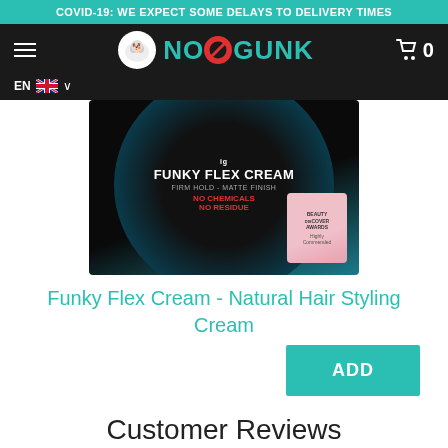COVID-19: WE EXPECT SOME DELAYS TO DELIVERY TIMES
[Figure (screenshot): No Gunk website navigation bar with hamburger menu, No Gunk logo (teal text with cartoon dog), and shopping cart icon showing 0 items. Language selector showing EN with UK flag.]
[Figure (photo): Product image of Funky Flex Cream - Natural Hair Styling Cream in a round black tin with blue design. Shows text: FUNKY FLEX CREAM, FIRM HOLD - MATTE FINISH, NO CHEMICALS, NO RESIDUE. Has Beauty Awards Highly Commended badge.]
Funky Flex Cream - Natural Hair Styling Cream
ADD
Customer Reviews
4.9